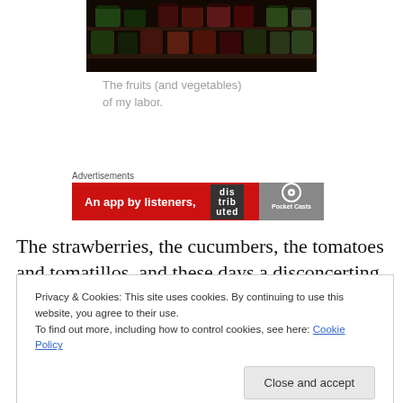[Figure (photo): Photo of canned jars on shelves in a pantry/cellar, dark lighting]
The fruits (and vegetables) of my labor.
Advertisements
[Figure (other): Advertisement banner: red background with text 'An app by listeners,' and a logo for Pocket Casts / distributed podcast app]
The strawberries, the cucumbers, the tomatoes and tomatillos, and these days a disconcerting number of
Privacy & Cookies: This site uses cookies. By continuing to use this website, you agree to their use.
To find out more, including how to control cookies, see here: Cookie Policy
Close and accept